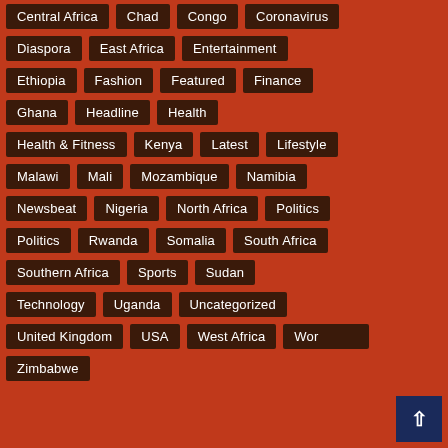Central Africa
Chad
Congo
Coronavirus
Diaspora
East Africa
Entertainment
Ethiopia
Fashion
Featured
Finance
Ghana
Headline
Health
Health & Fitness
Kenya
Latest
Lifestyle
Malawi
Mali
Mozambique
Namibia
Newsbeat
Nigeria
North Africa
Politics
Politics
Rwanda
Somalia
South Africa
Southern Africa
Sports
Sudan
Technology
Uganda
Uncategorized
United Kingdom
USA
West Africa
Wor...
Zimbabwe